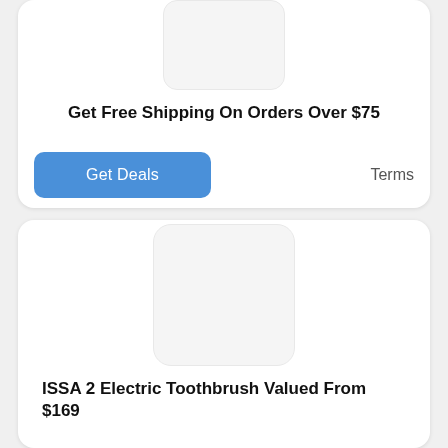[Figure (illustration): Placeholder product image (rounded rectangle, light gray background) for first deal card]
Get Free Shipping On Orders Over $75
Get Deals
Terms
[Figure (illustration): Placeholder product image (rounded rectangle, light gray background) for ISSA 2 Electric Toothbrush deal card]
ISSA 2 Electric Toothbrush Valued From $169